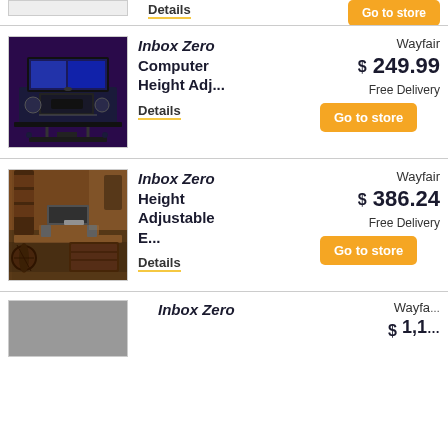Details
Go to store
[Figure (photo): Gaming desk with monitors and purple lighting]
Inbox Zero Computer Height Adj...
Wayfair $249.99 Free Delivery
Go to store
Details
[Figure (photo): Wooden height adjustable desk in living room with guitar]
Inbox Zero Height Adjustable E...
Wayfair $386.24 Free Delivery
Go to store
Details
Inbox Zero
Wayf... $1,1...